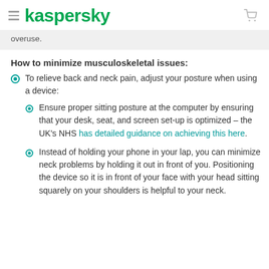kaspersky
overuse.
How to minimize musculoskeletal issues:
To relieve back and neck pain, adjust your posture when using a device:
Ensure proper sitting posture at the computer by ensuring that your desk, seat, and screen set-up is optimized – the UK's NHS has detailed guidance on achieving this here.
Instead of holding your phone in your lap, you can minimize neck problems by holding it out in front of you. Positioning the device so it is in front of your face with your head sitting squarely on your shoulders is helpful to your neck.